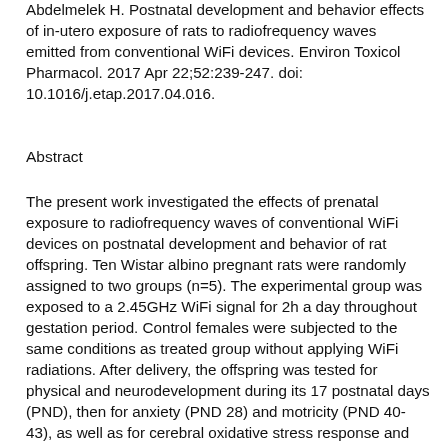Abdelmelek H. Postnatal development and behavior effects of in-utero exposure of rats to radiofrequency waves emitted from conventional WiFi devices. Environ Toxicol Pharmacol. 2017 Apr 22;52:239-247. doi: 10.1016/j.etap.2017.04.016.
Abstract
The present work investigated the effects of prenatal exposure to radiofrequency waves of conventional WiFi devices on postnatal development and behavior of rat offspring. Ten Wistar albino pregnant rats were randomly assigned to two groups (n=5). The experimental group was exposed to a 2.45GHz WiFi signal for 2h a day throughout gestation period. Control females were subjected to the same conditions as treated group without applying WiFi radiations. After delivery, the offspring was tested for physical and neurodevelopment during its 17 postnatal days (PND), then for anxiety (PND 28) and motricity (PND 40-43), as well as for cerebral oxidative stress response and cholinesterase activity in brain and serum (PND 28 and 43). Our main results showed that the in-utero WiFi exposure impaired offspring neurodevelopment during the first seventeen